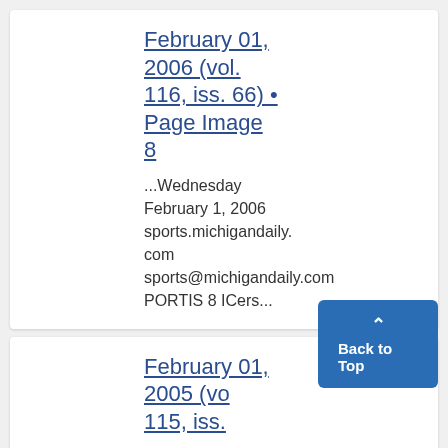February 01, 2006 (vol. 116, iss. 66) • Page Image 8
...Wednesday February 1, 2006 sports.michigandaily.com sports@michigandaily.com PORTIS 8 ICers...
February 01, 2005 (vol. 115, iss.